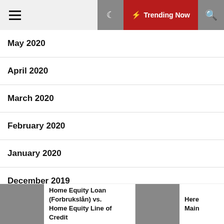≡ Trending Now
May 2020
April 2020
March 2020
February 2020
January 2020
December 2019
November 2019
Home Equity Loan (Forbrukslån) vs. Home Equity Line of Credit | Here Main